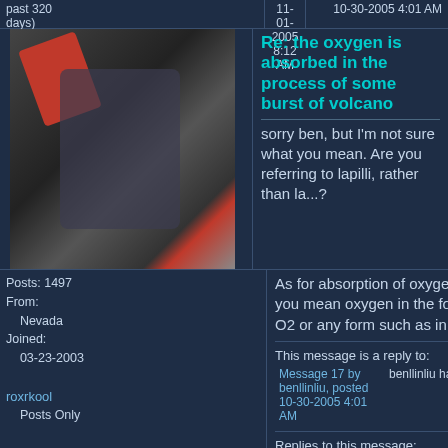past 320 days)
11-01-2005 8:12 AM
10-30-2005 4:01 AM
Re: the oxygen is absorbed in the process of some burst of volcano
sorry ben, but I'm not sure what you mean. Are you referring to lapilli, rather than la...?
Posts: 1497
From:
    Nevada
Joined:
    03-23-2003
roxrkool
    Posts Only
As for absorption of oxygen, do you mean oxygen in the form of O2 or any form such as in H2O?
This message is a reply to:
Message 17 by benllinliu, posted 10-30-2005 4:01 AM
benllinliu has replied
Replies to this message:
Message 19 by benllinliu, posted 11-01-2005 9:33 AM
roxrkool has not replied
Message 19 of 28
(255973)
Reply to: Message 18 by roxrkool
11-01-2005 9:33 AM
11-01-2005 8:12 AM
benllinliu
Inactive Member